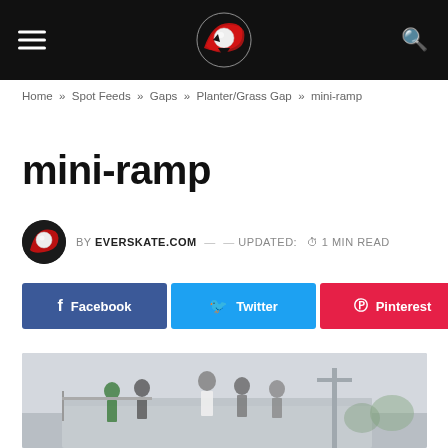EVERSKATE.COM — hamburger menu, logo, search
Home » Spot Feeds » Gaps » Planter/Grass Gap » mini-ramp
mini-ramp
BY EVERSKATE.COM — UPDATED: 1 MIN READ
Facebook  Twitter  Pinterest  Share
[Figure (photo): People standing on a mini-ramp skate structure outdoors with a utility pole visible in the background]